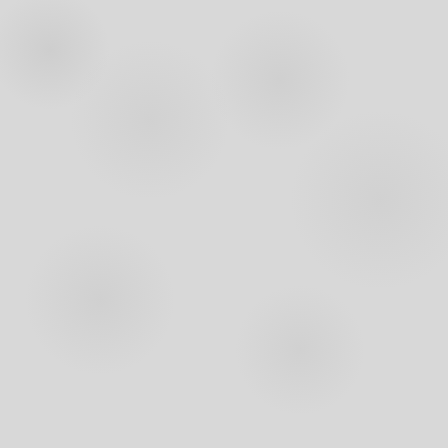the way ba...
Just remember to chain one at the beginning of each new row, work, and resume single crochet (SC for abbreviation, just so y...
Just a mention: your chain one never counts as a stitch. Do not... Also, all other crochet stitches build from this stitch, so most of...
FYI: I am holding my working yarn in my left hand. If you usually... your right hand, this may be an adjustment for you.
Any questions? Interested in more crochet lessons for knitters? contents here, or click here for part three, learning to double cr...
In 2015 I also turned the knitter's guide to crochet into a video s... YouTube channel or just press play below!
[Figure (screenshot): YouTube video thumbnail showing 'Knitter's Guide to Crochet (Part 2: Single' with a circular avatar of a person wearing a dark hat]